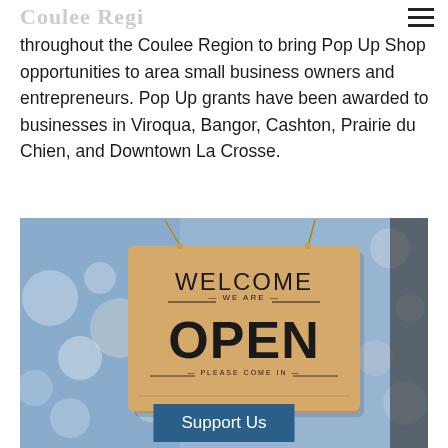Coulee region (logo/title, partially visible)
throughout the Coulee Region to bring Pop Up Shop opportunities to area small business owners and entrepreneurs. Pop Up grants have been awarded to businesses in Viroqua, Bangor, Cashton, Prairie du Chien, and Downtown La Crosse.
[Figure (photo): Photo of a wooden 'Welcome We Are OPEN Please Come In' hanging sign against a blurred bokeh background, with a blue 'Support Us' button overlaid at the bottom center.]